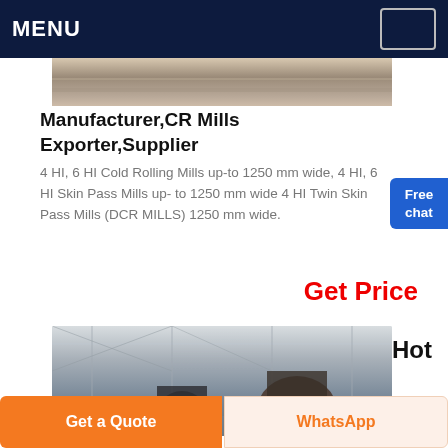MENU
[Figure (photo): Partial photo of industrial material or mill surface, cropped at top]
Manufacturer,CR Mills Exporter,Supplier
4 HI, 6 HI Cold Rolling Mills up-to 1250 mm wide, 4 HI, 6 HI Skin Pass Mills up- to 1250 mm wide 4 HI Twin Skin Pass Mills (DCR MILLS) 1250 mm wide.
Get Price
[Figure (photo): Interior of a large industrial factory or mill building with steel structure and heavy machinery]
Hot
Get a Quote
WhatsApp